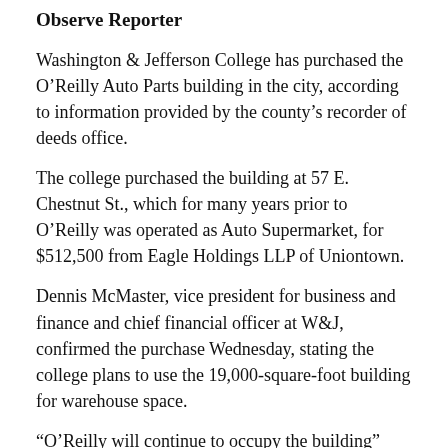Observe Reporter
Washington & Jefferson College has purchased the O’Reilly Auto Parts building in the city, according to information provided by the county’s recorder of deeds office.
The college purchased the building at 57 E. Chestnut St., which for many years prior to O’Reilly was operated as Auto Supermarket, for $512,500 from Eagle Holdings LLP of Uniontown.
Dennis McMaster, vice president for business and finance and chief financial officer at W&J, confirmed the purchase Wednesday, stating the college plans to use the 19,000-square-foot building for warehouse space.
“O’Reilly will continue to occupy the building” until it completes construction of its new store on Jefferson Avenue, McMaster said. He said the retailer expects to relocate to its new building within the next 90 days.
The East Chestnut Street property, which has a footprint